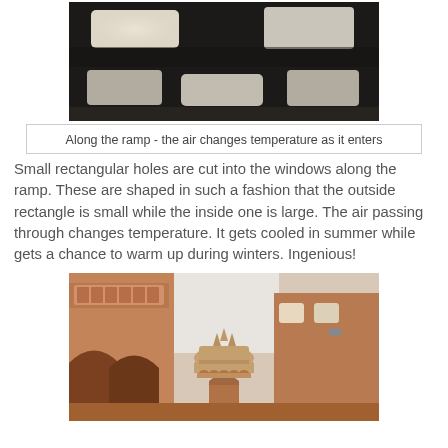[Figure (photo): Close-up photo of rectangular window slots cut into a dark wall along a ramp, showing light streaming through the openings at two levels.]
Along the ramp - the air changes temperature as it enters
Small rectangular holes are cut into the windows along the ramp. These are shaped in such a fashion that the outside rectangle is small while the inside one is large. The air passing through changes temperature. It gets cooled in summer while gets a chance to warm up during winters. Ingenious!
[Figure (photo): Photo of an ornate Indian palace courtyard (likely Hawa Mahal, Jaipur) showing pink sandstone architecture with arched corridors, decorative balconies, and a domed pavilion structure.]